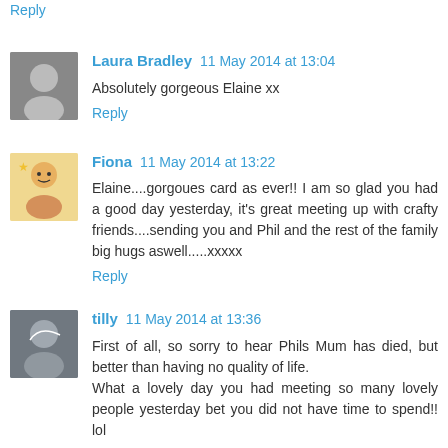Reply
Laura Bradley 11 May 2014 at 13:04
Absolutely gorgeous Elaine xx
Reply
Fiona 11 May 2014 at 13:22
Elaine....gorgoues card as ever!! I am so glad you had a good day yesterday, it's great meeting up with crafty friends....sending you and Phil and the rest of the family big hugs aswell.....xxxxx
Reply
tilly 11 May 2014 at 13:36
First of all, so sorry to hear Phils Mum has died, but better than having no quality of life. What a lovely day you had meeting so many lovely people yesterday bet you did not have time to spend!! lol...